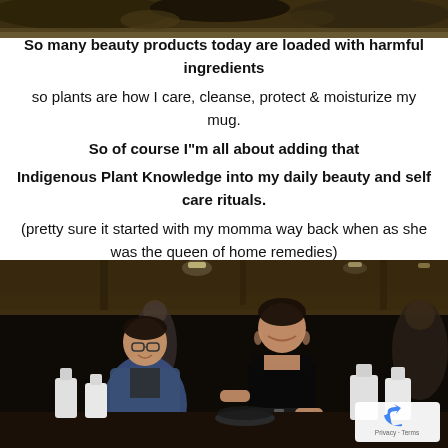[Figure (photo): Top partial photo showing outdoor rocky/earthy scene with dark tones]
So many beauty products today are loaded with harmful ingredients

so plants are how I care, cleanse, protect & moisturize my mug.

So of course I"m all about adding that

Indigenous Plant Knowledge into my daily beauty and self care rituals.

(pretty sure it started with my momma way back when as she was the queen of home remedies)
[Figure (photo): Indoor event photo showing two women smiling, one in glasses and denim jacket, one in black tank top working at a table with white bottles, reCAPTCHA badge visible in corner]